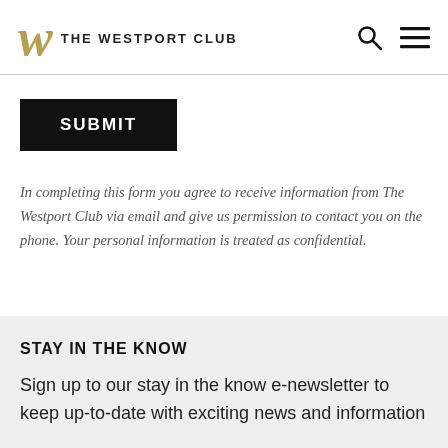THE WESTPORT CLUB
[Figure (logo): The Westport Club logo with stylized gold W and text THE WESTPORT CLUB, plus search and menu icons]
SUBMIT
In completing this form you agree to receive information from The Westport Club via email and give us permission to contact you on the phone. Your personal information is treated as confidential.
STAY IN THE KNOW
Sign up to our stay in the know e-newsletter to keep up-to-date with exciting news and information